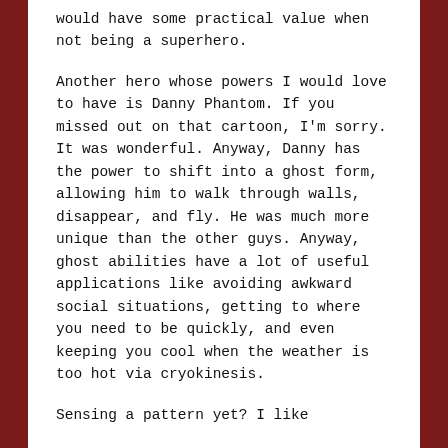would have some practical value when not being a superhero.
Another hero whose powers I would love to have is Danny Phantom. If you missed out on that cartoon, I'm sorry. It was wonderful. Anyway, Danny has the power to shift into a ghost form, allowing him to walk through walls, disappear, and fly. He was much more unique than the other guys. Anyway, ghost abilities have a lot of useful applications like avoiding awkward social situations, getting to where you need to be quickly, and even keeping you cool when the weather is too hot via cryokinesis.
Sensing a pattern yet? I like